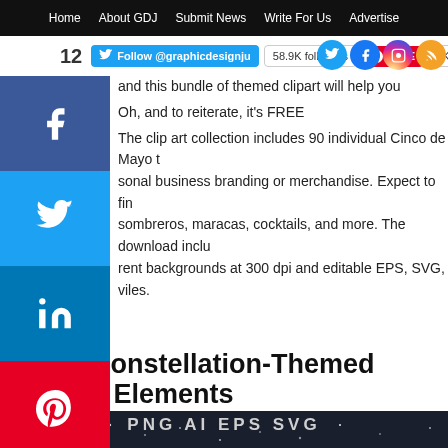Home | About GDJ | Submit News | Write For Us | Advertise
[Figure (screenshot): Twitter Follow @graphicdesignju button with 58.9K followers badge, Pinterest SAVE button with 3K+, and social media icons (Twitter, Facebook, Instagram, RSS)]
and this bundle of themed clipart will help you celebrate Mex
Oh, and to reiterate, it's FREE
The clip art collection includes 90 individual Cinco de Mayo t... personal business branding or merchandise. Expect to fin... sombreros, maracas, cocktails, and more. The download inclu... rent backgrounds at 300 dpi and editable EPS, SVG, ... v... iles.
[Figure (screenshot): Left-side social sharing bar with Facebook, Twitter, LinkedIn, Pinterest buttons and a + more button]
0 Free Constellation-Themed Graphic Elements
[Figure (photo): Dark night sky background with stars, showing PNG AI EPS SVG file type labels]